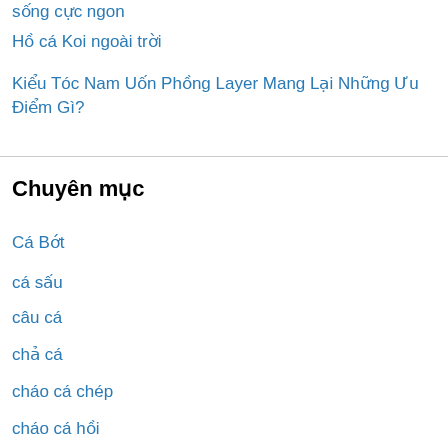sống cực ngon
Hồ cá Koi ngoài trời
Kiểu Tóc Nam Uốn Phồng Layer Mang Lại Những Ưu Điểm Gì?
Chuyên mục
Cá Bớt
cá sấu
câu cá
chả cá
cháo cá chép
cháo cá hồi